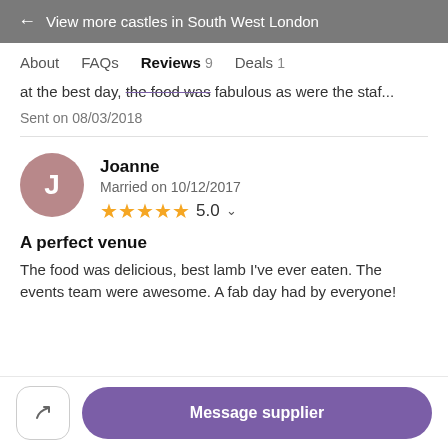← View more castles in South West London
About  FAQs  Reviews 9  Deals 1
at the best day, the food was fabulous as were the staf...
Sent on 08/03/2018
Joanne
Married on 10/12/2017
5.0
A perfect venue
The food was delicious, best lamb I've ever eaten. The events team were awesome. A fab day had by everyone!